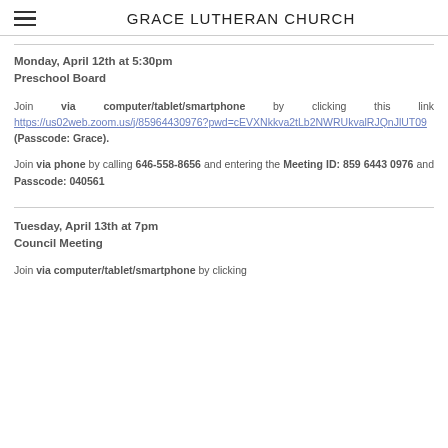GRACE LUTHERAN CHURCH
Monday, April 12th at 5:30pm
Preschool Board
Join via computer/tablet/smartphone by clicking this link https://us02web.zoom.us/j/85964430976?pwd=cEVXNkkva2tLb2NWRUkvalRJQnJlUT09 (Passcode: Grace).
Join via phone by calling 646-558-8656 and entering the Meeting ID: 859 6443 0976 and Passcode: 040561
Tuesday, April 13th at 7pm
Council Meeting
Join via computer/tablet/smartphone by clicking